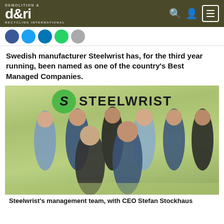d&ri Demolition & Recycling International
[Figure (logo): d&ri Demolition & Recycling International logo with search, user, and menu icons]
Swedish manufacturer Steelwrist has, for the third year running, been named as one of the country's Best Managed Companies.
[Figure (photo): Steelwrist management team group photo standing in front of Steelwrist logo banner]
Steelwrist's management team, with CEO Stefan Stockhaus